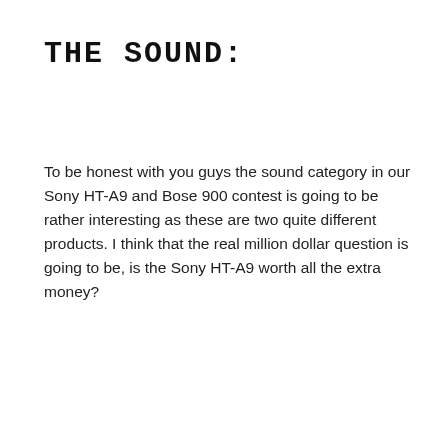THE SOUND:
To be honest with you guys the sound category in our Sony HT-A9 and Bose 900 contest is going to be rather interesting as these are two quite different products. I think that the real million dollar question is going to be, is the Sony HT-A9 worth all the extra money?